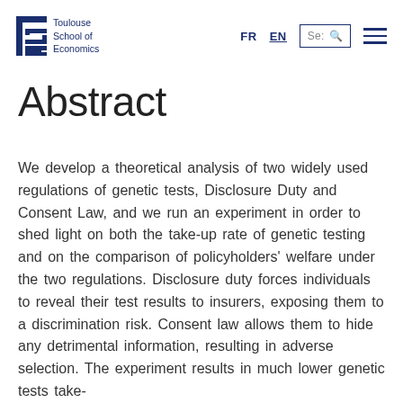Toulouse School of Economics | FR | EN | Search | Menu
Abstract
We develop a theoretical analysis of two widely used regulations of genetic tests, Disclosure Duty and Consent Law, and we run an experiment in order to shed light on both the take-up rate of genetic testing and on the comparison of policyholders’ welfare under the two regulations. Disclosure duty forces individuals to reveal their test results to insurers, exposing them to a discrimination risk. Consent law allows them to hide any detrimental information, resulting in adverse selection. The experiment results in much lower genetic tests take-